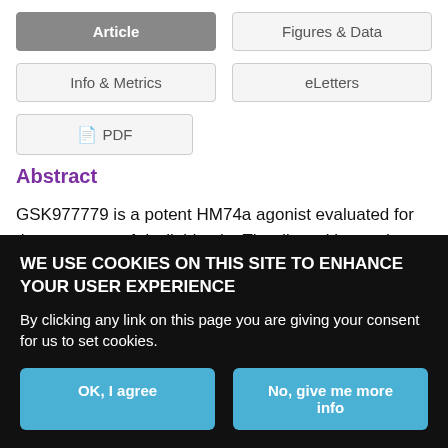[Figure (screenshot): Navigation tab buttons: Article (active/gray), Figures & Data, Info & Metrics, eLetters, PDF]
Abstract
GSK977779 is a potent HM74a agonist evaluated for the treatment of dyslipidemia. The disposition and metabolism of [14C]GSK977779 (67.6 umol/kg p.o.) was studied in male and female rats. The
WE USE COOKIES ON THIS SITE TO ENHANCE YOUR USER EXPERIENCE
By clicking any link on this page you are giving your consent for us to set cookies.